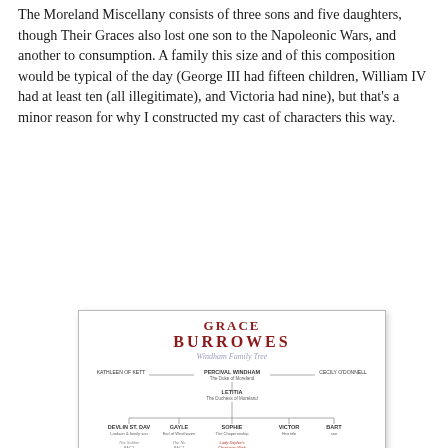The Moreland Miscellany consists of three sons and five daughters, though Their Graces also lost one son to the Napoleonic Wars, and another to consumption. A family this size and of this composition would be typical of the day (George III had fifteen children, William IV had at least ten (all illegitimate), and Victoria had nine), but that's a minor reason for why I constructed my cast of characters this way.
[Figure (other): The Windham Family Tree by Grace Burrowes — an organizational chart showing the Windham family genealogy with Percival Windham (The Duke of Moreland) at the top, connected to various family members including children and their book titles. Includes the Grace Burrowes logo and GraceBurrowes.com watermark.]
The Windham Family Tree